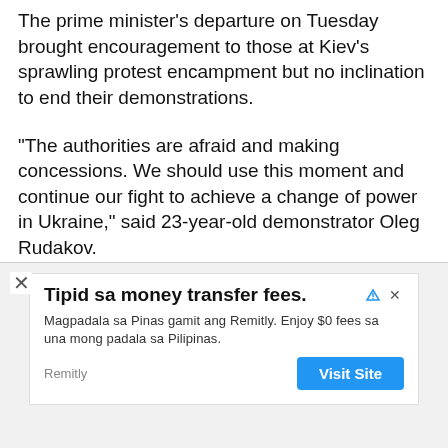The prime minister's departure on Tuesday brought encouragement to those at Kiev's sprawling protest encampment but no inclination to end their demonstrations.
"The authorities are afraid and making concessions. We should use this moment and continue our fight to achieve a change of power in Ukraine," said 23-year-old demonstrator Oleg Rudakov.
The opposition had accused Azarov of mismanaging the economy and condoning corruption, and they have ridiculed the Russian-speaker for his poor command of Ukrainian. Animosity toward him grew after the protests arted in November when he labeled demonstrators
[Figure (screenshot): Advertisement banner for Remitly money transfer service. Headline: 'Tipid sa money transfer fees.' Body: 'Magpadala sa Pinas gamit ang Remitly. Enjoy $0 fees sa una mong padala sa Pilipinas.' Brand: Remitly. Button: 'Visit Site']